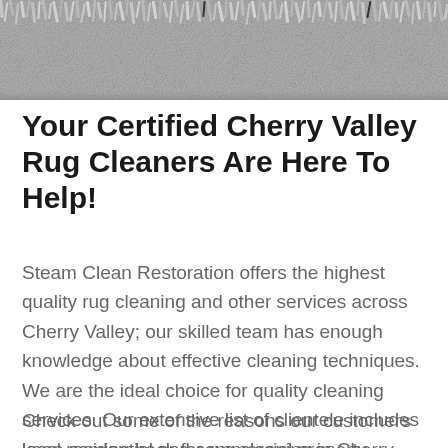[Figure (photo): Close-up photo of a shaggy gray/white rug texture filling the top portion of the page]
Your Certified Cherry Valley Rug Cleaners Are Here To Help!
Steam Clean Restoration offers the highest quality rug cleaning and other services across Cherry Valley; our skilled team has enough knowledge about effective cleaning techniques. We are the ideal choice for quality cleaning services. Our extensive list of clientele includes local residential and commercial property owners.
Check out some of the reasons our customers keep coming back for rug cleaning in Cherry Valley, CA.